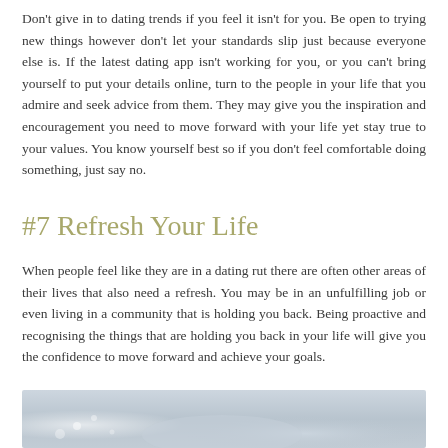Don't give in to dating trends if you feel it isn't for you. Be open to trying new things however don't let your standards slip just because everyone else is. If the latest dating app isn't working for you, or you can't bring yourself to put your details online, turn to the people in your life that you admire and seek advice from them. They may give you the inspiration and encouragement you need to move forward with your life yet stay true to your values. You know yourself best so if you don't feel comfortable doing something, just say no.
#7 Refresh Your Life
When people feel like they are in a dating rut there are often other areas of their lives that also need a refresh. You may be in an unfulfilling job or even living in a community that is holding you back. Being proactive and recognising the things that are holding you back in your life will give you the confidence to move forward and achieve your goals.
[Figure (photo): A partially visible photograph at the bottom of the page, appearing to show a blurred wintry or bokeh background scene.]